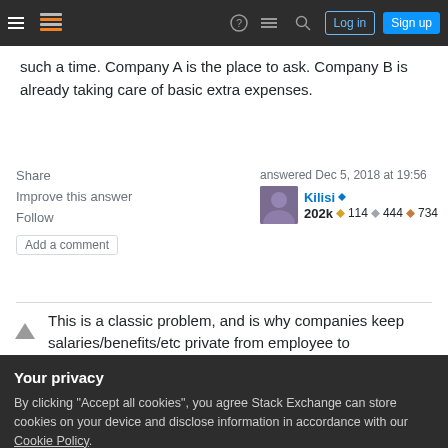Stack Exchange navigation bar with hamburger menu, logo, icons, Log in and Sign up buttons
such a time. Company A is the place to ask. Company B is already taking care of basic extra expenses.
Share  answered Dec 5, 2018 at 19:56
Improve this answer  Kilisi ◆ 202k ◆114 ◆444 ◆734
Follow
Add a comment
This is a classic problem, and is why companies keep salaries/benefits/etc private from employee to
Your privacy
By clicking "Accept all cookies", you agree Stack Exchange can store cookies on your device and disclose information in accordance with our Cookie Policy.
Accept all cookies  Customize settings
outsourced the job you now hold because it is